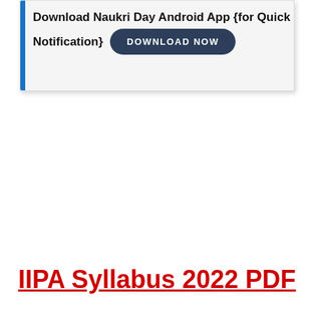[Figure (screenshot): Banner with blue left border showing 'Download Naukri Day Android App {for Quick Notification}' text and a dark rounded 'DOWNLOAD NOW' button]
IIPA Syllabus 2022 PDF